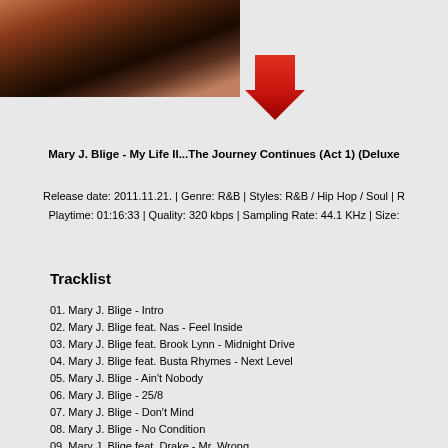[Figure (photo): Partial photo of Mary J. Blige in a dark outfit, cropped at top of page]
[Figure (illustration): Red downward-pointing arrow icon]
Mary J. Blige - My Life II...The Journey Continues (Act 1) (Deluxe
Release date: 2011.11.21. | Genre: R&B | Styles: R&B / Hip Hop / Soul | R
Playtime: 01:16:33 | Quality: 320 kbps | Sampling Rate: 44.1 KHz | Size:
Tracklist
01. Mary J. Blige - Intro
02. Mary J. Blige feat. Nas - Feel Inside
03. Mary J. Blige feat. Brook Lynn - Midnight Drive
04. Mary J. Blige feat. Busta Rhymes - Next Level
05. Mary J. Blige - Ain't Nobody
06. Mary J. Blige - 25/8
07. Mary J. Blige - Don't Mind
08. Mary J. Blige - No Condition
09. Mary J. Blige feat. Drake - Mr. Wrong
10. Mary J. Blige feat. Rick Ross - Why
11. Mary J. Blige feat. Beyoncé - Love A Woman
12. Mary J. Blige feat. ...